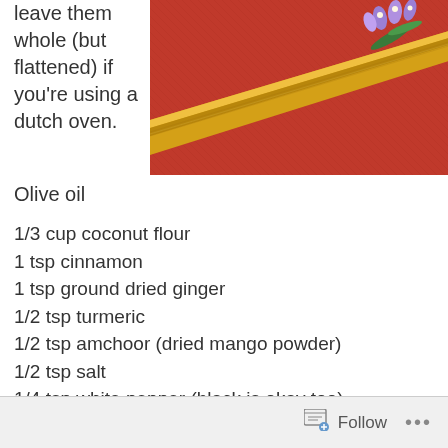leave them whole (but flattened) if you're using a dutch oven.
[Figure (photo): Decorative photo showing a gold knife or blade with floral decoration (purple/blue flowers and green leaves) on a red fabric background.]
Olive oil
1/3 cup coconut flour
1 tsp cinnamon
1 tsp ground dried ginger
1/2 tsp turmeric
1/2 tsp amchoor (dried mango powder)
1/2 tsp salt
1/4 tsp white pepper (black is okay too)
Follow ...